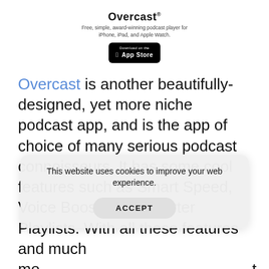[Figure (logo): Overcast app logo header with title, subtitle, and App Store download button]
Overcast is another beautifully-designed, yet more niche podcast app, and is the app of choice of many serious podcast connoisseurs. It has some cool features such as Smart Speed, Voice Boost, and Smarter Playlists. With all these features and much mo[re, it is a go-to app for podcast t-lo]v[ers who want to customize thei]r list[ening experience. It is only availa]ble for iOS users, but the great news is that when you list your podcast with Apple Podcasts, it
This website uses cookies to improve your web experience.
ACCEPT